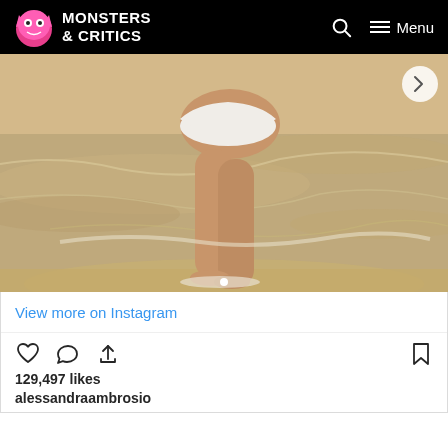MONSTERS & CRITICS
[Figure (photo): A woman in a white bikini bottom standing at the beach shoreline, photographed from behind/side, showing legs and lower body with ocean waves in background.]
View more on Instagram
129,497 likes
alessandraambrosio